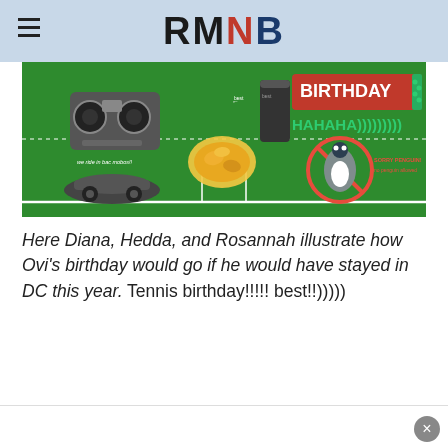RMNB
[Figure (photo): A green soccer field background with collage items: a boombox, a food plate, a cylindrical can labeled 'best', a black car with text 'we ride in bac mobos!!', a red/blue 'BIRTHDAY' banner with dots, text 'HAHAHA))))))))))', a penguin in a red no-sign with text 'SORRY PENGUIN! no penguin allowed']
Here Diana, Hedda, and Rosannah illustrate how Ovi's birthday would go if he would have stayed in DC this year. Tennis birthday!!!!! best!!)))))